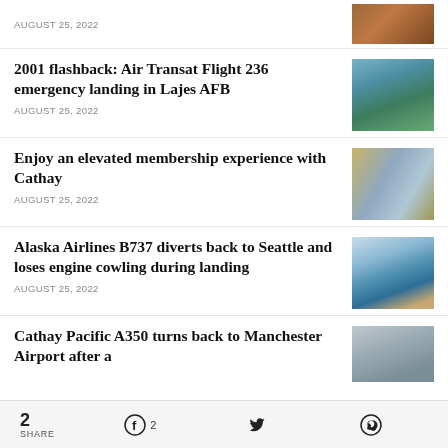AUGUST 25, 2022
[Figure (photo): Aerial/landscape photo, partial view at top]
2001 flashback: Air Transat Flight 236 emergency landing in Lajes AFB
AUGUST 25, 2022
[Figure (photo): Photo of an aircraft on a runway with sky background]
Enjoy an elevated membership experience with Cathay
AUGUST 25, 2022
[Figure (photo): Close-up photo of aircraft engine/wing]
Alaska Airlines B737 diverts back to Seattle and loses engine cowling during landing
AUGUST 25, 2022
[Figure (photo): Photo of Alaska Airlines aircraft on tarmac]
Cathay Pacific A350 turns back to Manchester Airport after a
[Figure (photo): Foggy/overcast photo partial]
2 SHARE  2